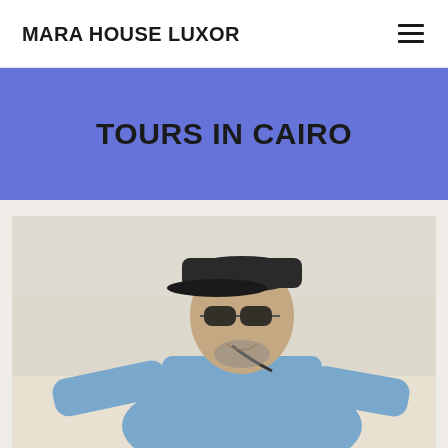MARA HOUSE LUXOR
TOURS IN CAIRO
[Figure (photo): A man wearing a dark cap, sunglasses, and a light blue shirt, posing outdoors with a hazy sky background. He appears to be leaning on something and smiling.]